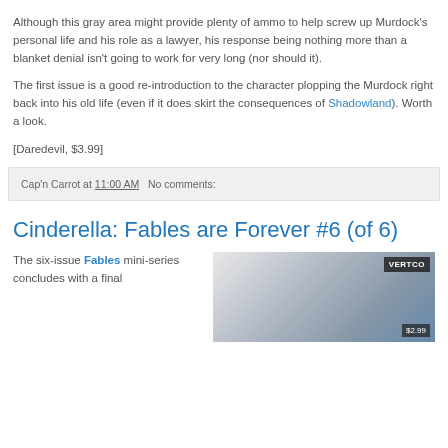Although this gray area might provide plenty of ammo to help screw up Murdock's personal life and his role as a lawyer, his response being nothing more than a blanket denial isn't going to work for very long (nor should it).
The first issue is a good re-introduction to the character plopping the Murdock right back into his old life (even if it does skirt the consequences of Shadowland). Worth a look.
[Daredevil, $3.99]
Cap'n Carrot at 11:00 AM   No comments:
Cinderella: Fables are Forever #6 (of 6)
The six-issue Fables mini-series concludes with a final
[Figure (photo): Comic book cover image showing Cinderella: Fables are Forever with Vertico logo and $2.99 price badge]